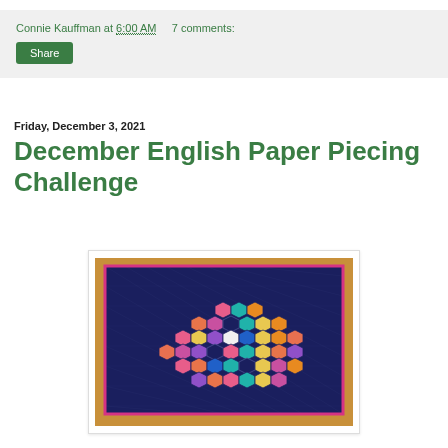Connie Kauffman at 6:00 AM    7 comments:
Share
Friday, December 3, 2021
December English Paper Piecing Challenge
[Figure (photo): A quilt table runner with colorful hexagonal English paper piecing blocks arranged in a diamond/oval cluster pattern on a dark navy blue quilted background with pink border, photographed on a wood surface.]